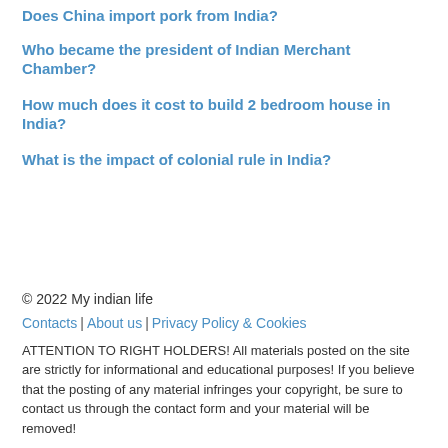Does China import pork from India?
Who became the president of Indian Merchant Chamber?
How much does it cost to build 2 bedroom house in India?
What is the impact of colonial rule in India?
© 2022 My indian life
Contacts | About us | Privacy Policy & Cookies
ATTENTION TO RIGHT HOLDERS! All materials posted on the site are strictly for informational and educational purposes! If you believe that the posting of any material infringes your copyright, be sure to contact us through the contact form and your material will be removed!